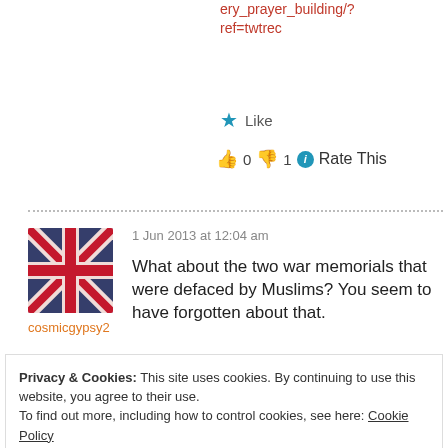ery_prayer_building/?ref=twtrec
Like
👍 0 👎 1 ℹ Rate This
[Figure (photo): UK Union Jack flag avatar, distressed/grunge style in red, white, and blue]
cosmicgypsy2
1 Jun 2013 at 12:04 am
What about the two war memorials that were defaced by Muslims? You seem to have forgotten about that.
Privacy & Cookies: This site uses cookies. By continuing to use this website, you agree to their use. To find out more, including how to control cookies, see here: Cookie Policy
Close and accept